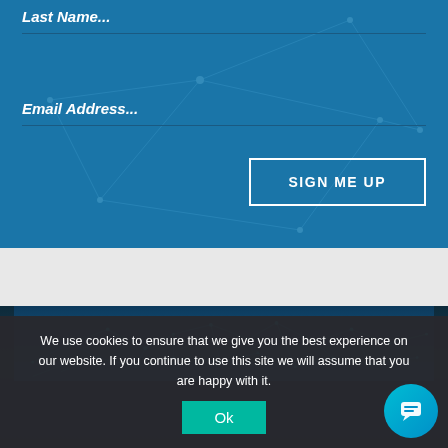Last Name...
Email Address...
SIGN ME UP
[Figure (illustration): Network connectivity diagram background with light blue geometric lines on dark blue background]
We use cookies to ensure that we give you the best experience on our website. If you continue to use this site we will assume that you are happy with it.
Ok